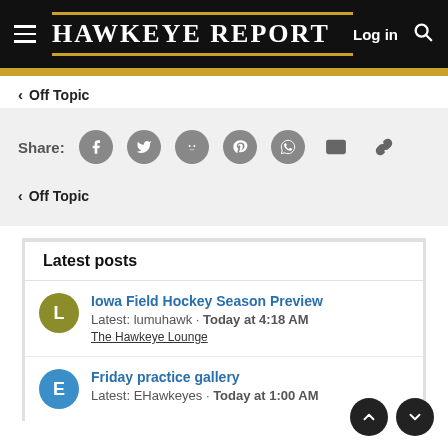Hawkeye Report — Log in
< Off Topic
Share: [Facebook] [Twitter] [Reddit] [Pinterest] [WhatsApp] [Mail] [Link]
< Off Topic
Latest posts
Iowa Field Hockey Season Preview
Latest: lumuhawk · Today at 4:18 AM
The Hawkeye Lounge
Friday practice gallery
Latest: EHawkeyes · Today at 1:00 AM